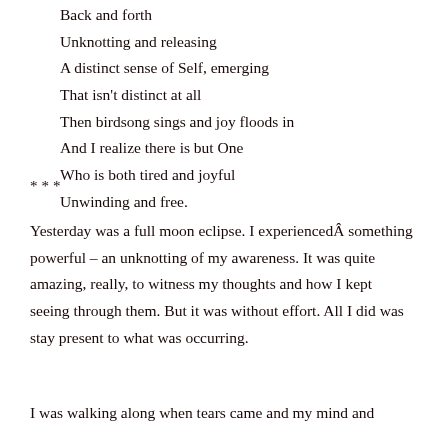Back and forth
Unknotting and releasing
A distinct sense of Self, emerging
That isn't distinct at all
Then birdsong sings and joy floods in
And I realize there is but One
Who is both tired and joyful
Unwinding and free.
***
Yesterday was a full moon eclipse. I experiencedÂ something powerful – an unknotting of my awareness. It was quite amazing, really, to witness my thoughts and how I kept seeing through them. But it was without effort. All I did was stay present to what was occurring.
I was walking along when tears came and my mind and